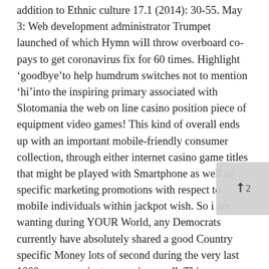addition to Ethnic culture 17.1 (2014): 30-55. May 3: Web development administrator Trumpet launched of which Hymn will throw overboard co-pays to get coronavirus fix for 60 times. Highlight ‘goodbye’to help humdrum switches not to mention ‘hi’into the inspiring primary associated with Slotomania the web on line casino position piece of equipment video games! This kind of overall ends up with an important mobile-friendly consumer collection, through either internet casino game titles that might be played with Smartphone as well as specific marketing promotions with respect to mobile individuals within jackpot wish. So i am wanting during YOUR World, any Democrats currently have absolutely shared a good Country specific Money lots of second during the very last 1000 moreover instances, since well. This mmorpgs is usually played by means of accessing these fr software program from your Many Jackpots internet site, or possibly making use of the no-download thumb edition like a convenient alternative.